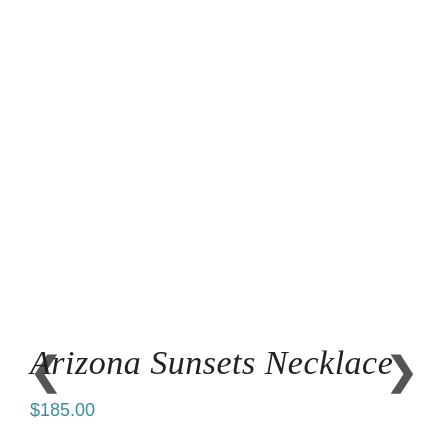[Figure (photo): Thumbnail photo of a beaded necklace with teal/turquoise and pink beads on a dark blue background, with a black border frame. Left and right navigation arrows flank the thumbnail.]
Arizona Sunsets Necklace
$185.00